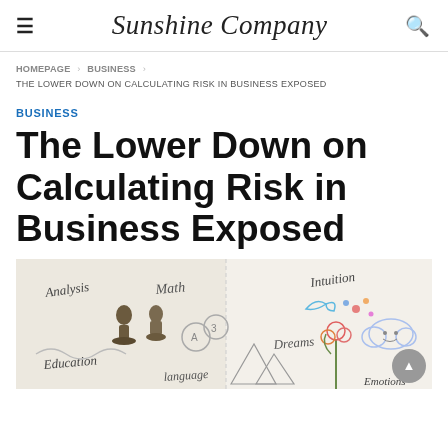Sunshine Company
HOMEPAGE › BUSINESS › THE LOWER DOWN ON CALCULATING RISK IN BUSINESS EXPOSED
BUSINESS
The Lower Down on Calculating Risk in Business Exposed
[Figure (illustration): Whiteboard-style illustration showing words and sketches related to decision-making and thinking: Analysis, Math, Education, Language, Intuition, Dreams, Emotions, with chess pieces and other hand-drawn imagery.]